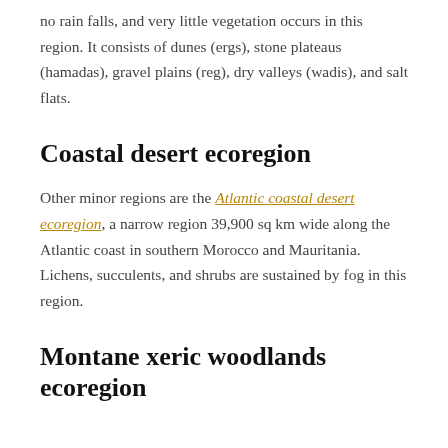no rain falls, and very little vegetation occurs in this region. It consists of dunes (ergs), stone plateaus (hamadas), gravel plains (reg), dry valleys (wadis), and salt flats.
Coastal desert ecoregion
Other minor regions are the Atlantic coastal desert ecoregion, a narrow region 39,900 sq km wide along the Atlantic coast in southern Morocco and Mauritania. Lichens, succulents, and shrubs are sustained by fog in this region.
Montane xeric woodlands ecoregion